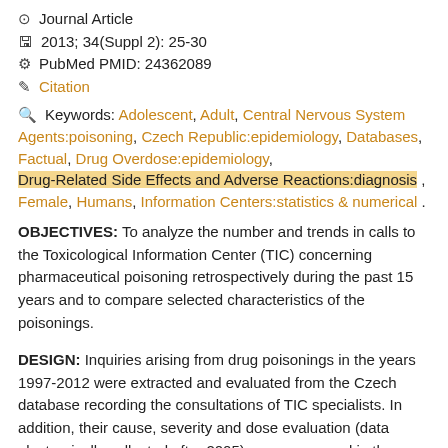Journal Article
2013; 34(Suppl 2): 25-30
PubMed PMID: 24362089
Citation
Keywords: Adolescent, Adult, Central Nervous System Agents:poisoning, Czech Republic:epidemiology, Databases, Factual, Drug Overdose:epidemiology, Drug-Related Side Effects and Adverse Reactions:diagnosis , Female, Humans, Information Centers:statistics & numerical .
OBJECTIVES: To analyze the number and trends in calls to the Toxicological Information Center (TIC) concerning pharmaceutical poisoning retrospectively during the past 15 years and to compare selected characteristics of the poisonings.
DESIGN: Inquiries arising from drug poisonings in the years 1997-2012 were extracted and evaluated from the Czech database recording the consultations of TIC specialists. In addition, their cause, severity and dose evaluation (data electronically collected after 2005) were compared in the years